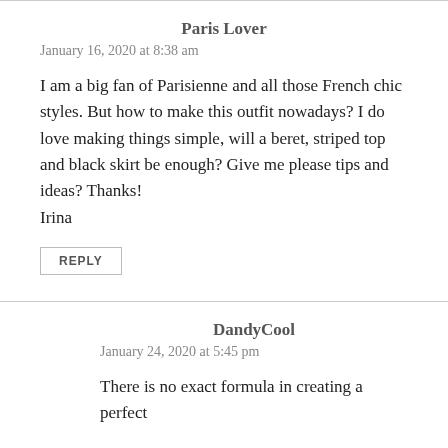Paris Lover
January 16, 2020 at 8:38 am
I am a big fan of Parisienne and all those French chic styles. But how to make this outfit nowadays? I do love making things simple, will a beret, striped top and black skirt be enough? Give me please tips and ideas? Thanks!
Irina
REPLY
DandyCool
January 24, 2020 at 5:45 pm
There is no exact formula in creating a perfect